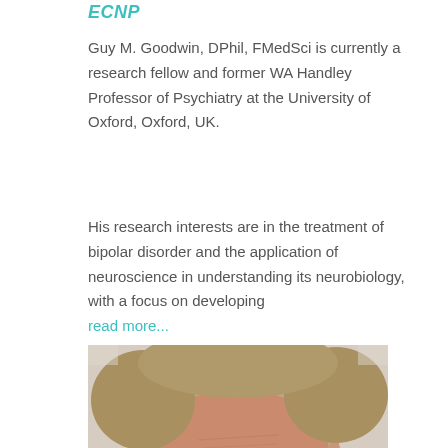ECNP
Guy M. Goodwin, DPhil, FMedSci is currently a research fellow and former WA Handley Professor of Psychiatry at the University of Oxford, Oxford, UK.
His research interests are in the treatment of bipolar disorder and the application of neuroscience in understanding its neurobiology, with a focus on developing read more...
[Figure (photo): Head-and-shoulders photo of a middle-aged man with grey-blonde hair, viewed from above showing forehead and top of head against a light background.]